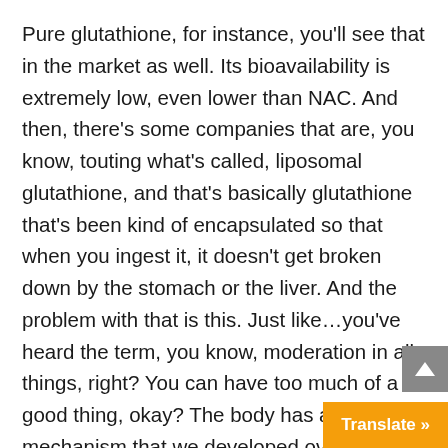Pure glutathione, for instance, you'll see that in the market as well. Its bioavailability is extremely low, even lower than NAC. And then, there's some companies that are, you know, touting what's called, liposomal glutathione, and that's basically glutathione that's been kind of encapsulated so that when you ingest it, it doesn't get broken down by the stomach or the liver. And the problem with that is this. Just like…you've heard the term, you know, moderation in all things, right? You can have too much of a good thing, okay? The body has an innate mechanism that we developed over time, as, hundreds if not thousands of these, actually, called inhibitory feedback mechanisms. So, the way I kinda relate it is when you go to fill up your